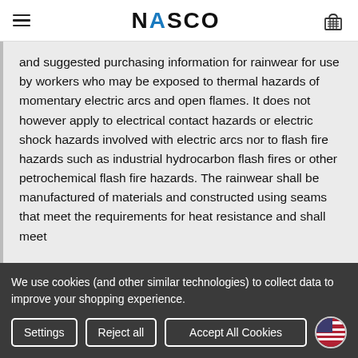NASCO (navigation header with hamburger menu and cart icon)
and suggested purchasing information for rainwear for use by workers who may be exposed to thermal hazards of momentary electric arcs and open flames. It does not however apply to electrical contact hazards or electric shock hazards involved with electric arcs nor to flash fire hazards such as industrial hydrocarbon flash fires or other petrochemical flash fire hazards. The rainwear shall be manufactured of materials and constructed using seams that meet the requirements for heat resistance and shall meet
We use cookies (and other similar technologies) to collect data to improve your shopping experience.
Settings | Reject all | Accept All Cookies